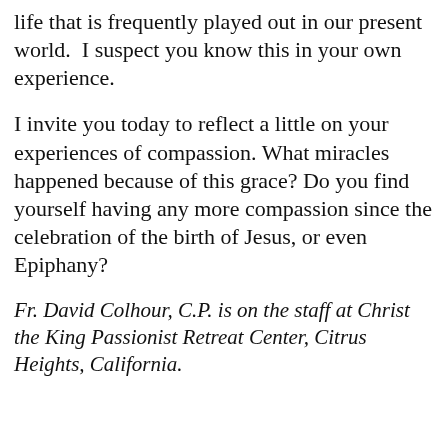life that is frequently played out in our present world.  I suspect you know this in your own experience.
I invite you today to reflect a little on your experiences of compassion. What miracles happened because of this grace? Do you find yourself having any more compassion since the celebration of the birth of Jesus, or even Epiphany?
Fr. David Colhour, C.P. is on the staff at Christ the King Passionist Retreat Center, Citrus Heights, California.